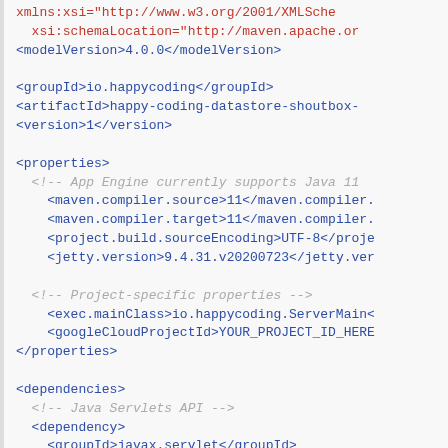XML/Maven pom.xml code snippet showing groupId, artifactId, version, properties, and dependencies elements